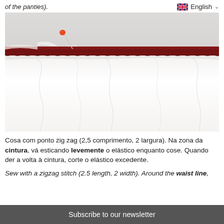of the panties).
[Figure (photo): Close-up photo of white fabric with a dark red/burgundy elastic band pinned along the top edge with an orange-tipped sewing pin. The white fabric is gathered/ruffled below.]
Cosa com ponto zig zag (2,5 comprimento, 2 largura). Na zona da cintura, vá esticando levemente o elástico enquanto cose. Quando der a volta à cintura, corte o elástico excedente.
Sew with a zigzag stitch (2.5 length, 2 width). Around the waist line,
Subscribe to our newsletter